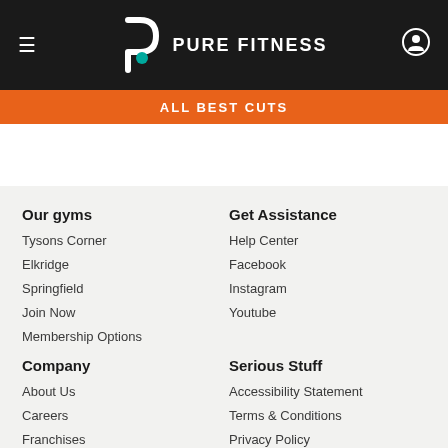Pure Fitness
ALL BEST CUTS
Our gyms
Tysons Corner
Elkridge
Springfield
Join Now
Membership Options
Get Assistance
Help Center
Facebook
Instagram
Youtube
Company
About Us
Careers
Franchises
Serious Stuff
Accessibility Statement
Terms & Conditions
Privacy Policy